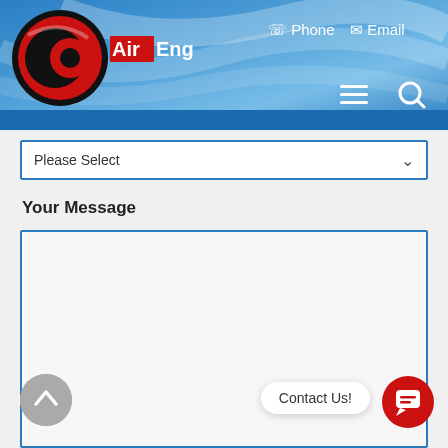[Figure (logo): AirEng company logo with red circular emblem and white text on blue gradient header background]
Phone
Email
Please Select
Your Message
Contact Us!